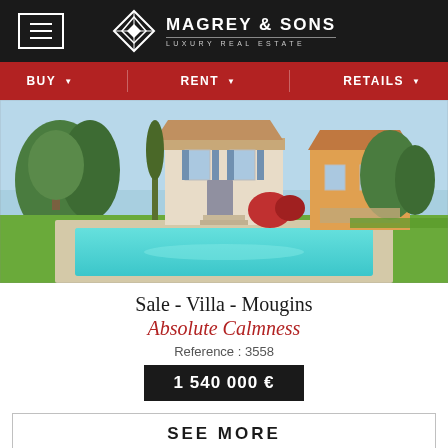[Figure (logo): Magrey & Sons Luxury Real Estate logo with diamond geometric mark on black header bar with hamburger menu icon]
BUY | RENT | RETAILS
[Figure (photo): Exterior photo of a Provence-style villa in Mougins with a large swimming pool, green lawn, trees, and stone architecture under blue sky]
Sale - Villa - Mougins
Absolute Calmness
Reference : 3558
1 540 000 €
SEE MORE